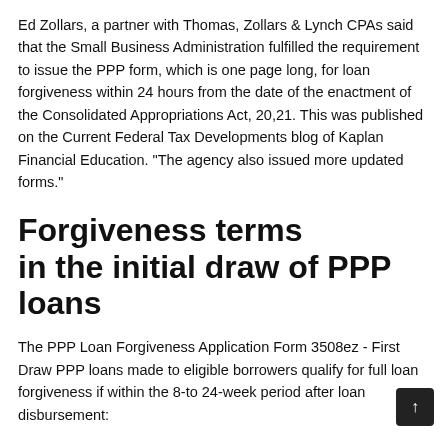Ed Zollars, a partner with Thomas, Zollars & Lynch CPAs said that the Small Business Administration fulfilled the requirement to issue the PPP form, which is one page long, for loan forgiveness within 24 hours from the date of the enactment of the Consolidated Appropriations Act, 20,21. This was published on the Current Federal Tax Developments blog of Kaplan Financial Education. "The agency also issued more updated forms."
Forgiveness terms in the initial draw of PPP loans
The PPP Loan Forgiveness Application Form 3508ez - First Draw PPP loans made to eligible borrowers qualify for full loan forgiveness if within the 8-to 24-week period after loan disbursement: